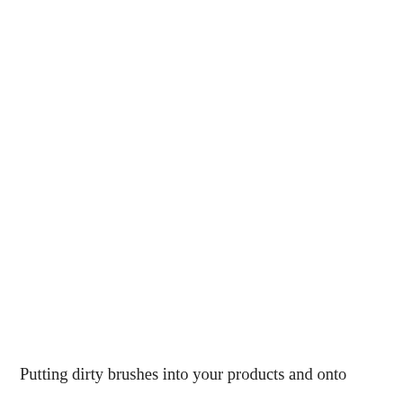Putting dirty brushes into your products and onto